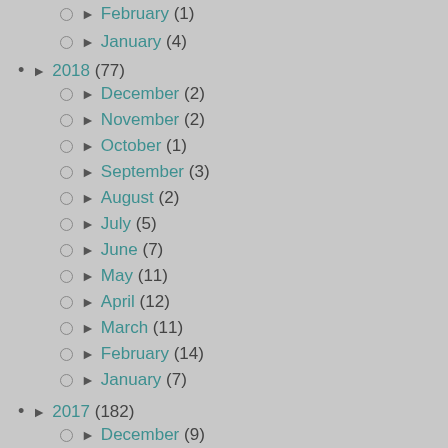► February (1)
► January (4)
► 2018 (77)
► December (2)
► November (2)
► October (1)
► September (3)
► August (2)
► July (5)
► June (7)
► May (11)
► April (12)
► March (11)
► February (14)
► January (7)
► 2017 (182)
► December (9)
► November (8)
► October (15)